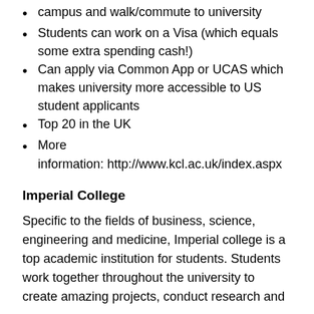campus and walk/commute to university
Students can work on a Visa (which equals some extra spending cash!)
Can apply via Common App or UCAS which makes university more accessible to US student applicants
Top 20 in the UK
More information: http://www.kcl.ac.uk/index.aspx
Imperial College
Specific to the fields of business, science, engineering and medicine, Imperial college is a top academic institution for students. Students work together throughout the university to create amazing projects, conduct research and